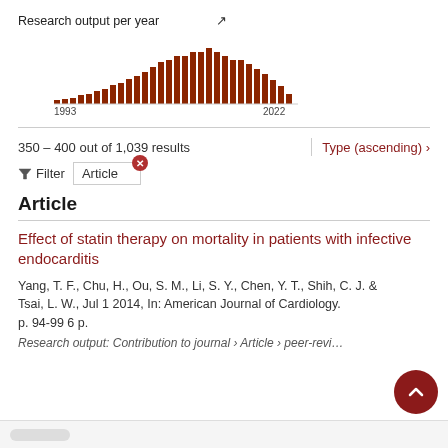[Figure (bar-chart): Research output per year]
350 - 400 out of 1,039 results
Type (ascending) ›
Filter  Article
Article
Effect of statin therapy on mortality in patients with infective endocarditis
Yang, T. F., Chu, H., Ou, S. M., Li, S. Y., Chen, Y. T., Shih, C. J. & Tsai, L. W., Jul 1 2014, In: American Journal of Cardiology. p. 94-99 6 p.
Research output: Contribution to journal › Article › peer-reviewed